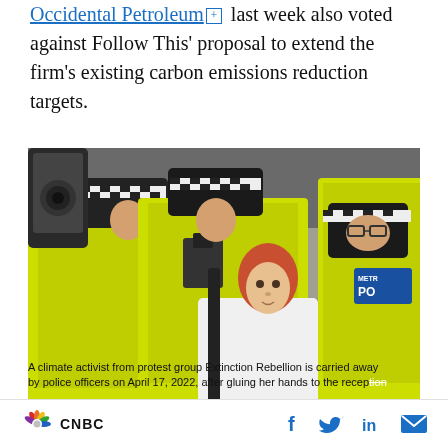Occidental Petroleum [+] last week also voted against Follow This' proposal to extend the firm's existing carbon emissions reduction targets.
[Figure (photo): A climate activist from protest group Extinction Rebellion being carried away by police officers in neon yellow/green vests. The activist is a woman with reddish hair wearing a white top. Several Metropolitan Police officers surround her. A Metro Police badge is visible on the right.]
A climate activist from protest group Extinction Rebellion is carried away by police officers on April 17, 2022, after gluing her hands to the recep...
CNBC  [social icons: Facebook, Twitter, LinkedIn, Email]